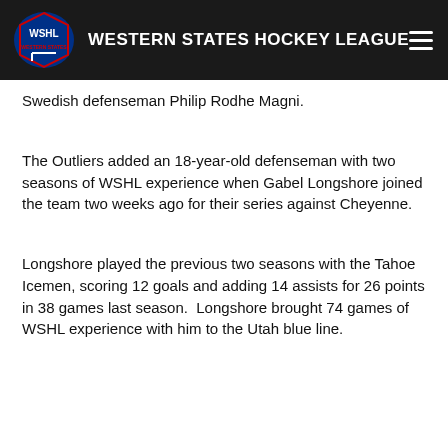WESTERN STATES HOCKEY LEAGUE
Swedish defenseman Philip Rodhe Magni.
The Outliers added an 18-year-old defenseman with two seasons of WSHL experience when Gabel Longshore joined the team two weeks ago for their series against Cheyenne.
Longshore played the previous two seasons with the Tahoe Icemen, scoring 12 goals and adding 14 assists for 26 points in 38 games last season.  Longshore brought 74 games of WSHL experience with him to the Utah blue line.